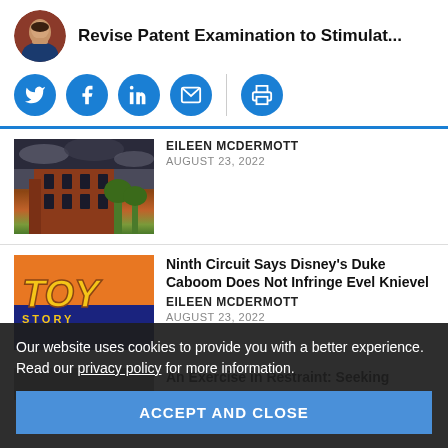Revise Patent Examination to Stimulat...
[Figure (other): Social share icons: Twitter, Facebook, LinkedIn, Email, Print]
[Figure (photo): Photo of a brick building with dark cloudy sky]
EILEEN MCDERMOTT
AUGUST 23, 2022
[Figure (photo): Toy Story movie themed image with TOY text visible]
Ninth Circuit Says Disney's Duke Caboom Does Not Infringe Evel Knievel
EILEEN MCDERMOTT
AUGUST 23, 2022
Our website uses cookies to provide you with a better experience. Read our privacy policy for more information.
ACCEPT AND CLOSE
An Exercise in Restraint: Seeking